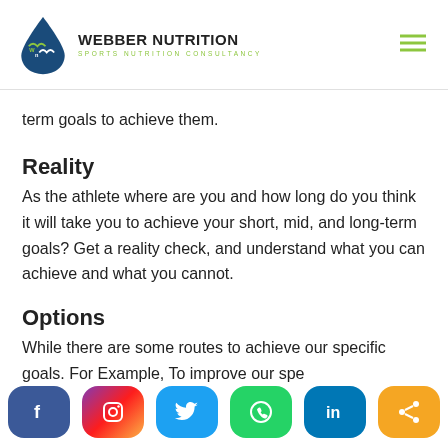WEBBER NUTRITION — SPORTS NUTRITION CONSULTANCY
term goals to achieve them.
Reality
As the athlete where are you and how long do you think it will take you to achieve your short, mid, and long-term goals? Get a reality check, and understand what you can achieve and what you cannot.
Options
While there are some routes to achieve our specific goals. For Example, To improve our spe...